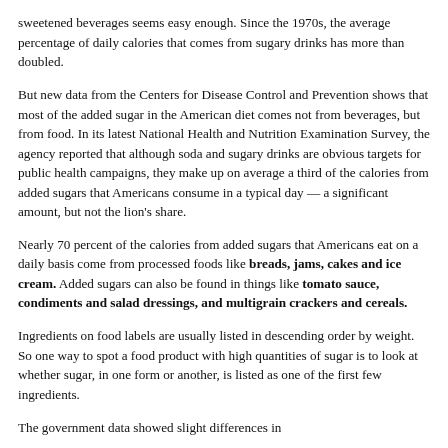sweetened beverages seems easy enough. Since the 1970s, the average percentage of daily calories that comes from sugary drinks has more than doubled.
But new data from the Centers for Disease Control and Prevention shows that most of the added sugar in the American diet comes not from beverages, but from food. In its latest National Health and Nutrition Examination Survey, the agency reported that although soda and sugary drinks are obvious targets for public health campaigns, they make up on average a third of the calories from added sugars that Americans consume in a typical day — a significant amount, but not the lion's share.
Nearly 70 percent of the calories from added sugars that Americans eat on a daily basis come from processed foods like breads, jams, cakes and ice cream. Added sugars can also be found in things like tomato sauce, condiments and salad dressings, and multigrain crackers and cereals.
Ingredients on food labels are usually listed in descending order by weight. So one way to spot a food product with high quantities of sugar is to look at whether sugar, in one form or another, is listed as one of the first few ingredients.
The government data showed slight differences in